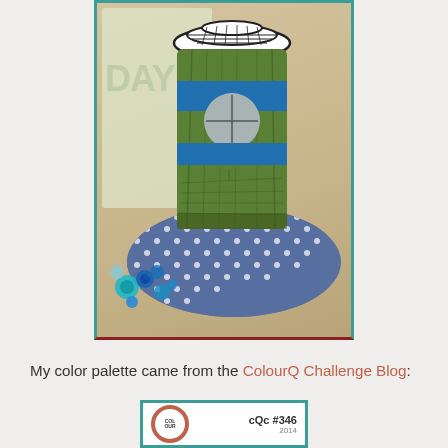[Figure (photo): Close-up photo of a handmade craft card featuring a decorated coffee cup with green body, blue stripes, gray circle logo, black-and-white lid, blue polka-dot ribbon border, and blue/teal gem embellishments at the bottom. The card background shows partial text 'DAY'. The photo is framed with a teal/dark red double border.]
My color palette came from the ColourQ Challenge Blog:
[Figure (photo): Partial view of a ColourQ Challenge Blog card or badge showing the ColourQ logo and 'cQc #346' label with a date below.]